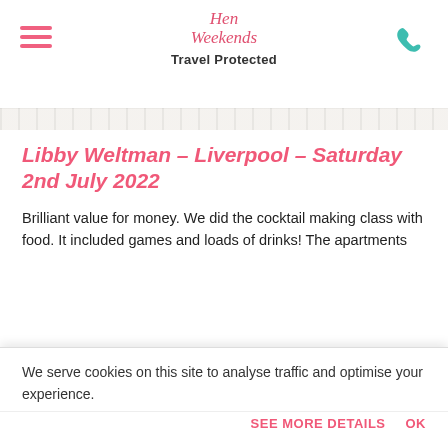Hen Weekends - Travel Protected
Libby Weltman – Liverpool – Saturday 2nd July 2022
Brilliant value for money. We did the cocktail making class with food. It included games and loads of drinks! The apartments were lovely and clean too. They were also in a great location meaning we could walk to revs within 5 minutes. Only thing that we could have done with was maybe a spare key for each apartment, in case someone wanted to go home. But everything was fantastic! I would definitely use this company again for a hen party!
[Figure (other): 5 pink star rating icons]
We serve cookies on this site to analyse traffic and optimise your experience.
SEE MORE DETAILS    OK
We had a fabulous weekend due to the organised activities and